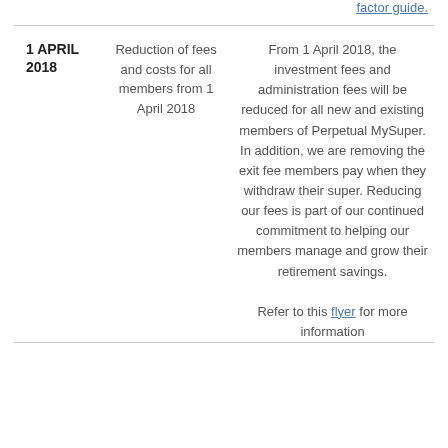| Date | Description | Detail |
| --- | --- | --- |
|  |  | factor guide. |
| 1 APRIL 2018 | Reduction of fees and costs for all members from 1 April 2018 | From 1 April 2018, the investment fees and administration fees will be reduced for all new and existing members of Perpetual MySuper. In addition, we are removing the exit fee members pay when they withdraw their super. Reducing our fees is part of our continued commitment to helping our members manage and grow their retirement savings.

Refer to this flyer for more information |